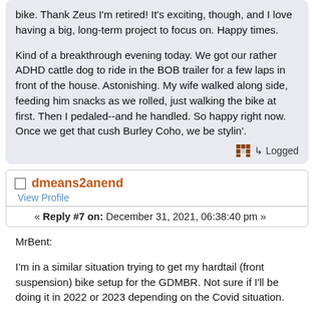bike.  Thank Zeus I'm retired! It's exciting, though, and I love having a big, long-term project to focus on.  Happy times.

Kind of a breakthrough evening today.  We got our rather ADHD cattle dog to ride in the BOB trailer for a few laps in front of the house.  Astonishing.  My wife walked along side, feeding him snacks as we rolled, just walking the bike at first.  Then I pedaled--and he handled.  So happy right now.  Once we get that cush Burley Coho, we be stylin'.
Logged
dmeans2anend
View Profile
« Reply #7 on: December 31, 2021, 06:38:40 pm »
MrBent:

I'm in a similar situation trying to get my hardtail (front suspension) bike setup for the GDMBR.  Not sure if I'll be doing it in 2022 or 2023 depending on the Covid situation.

Thanks for you post as I have used your setup as comparison.

Here are some of my feedback:

1)  Have you considered going with a suspension seatpost?  Some of